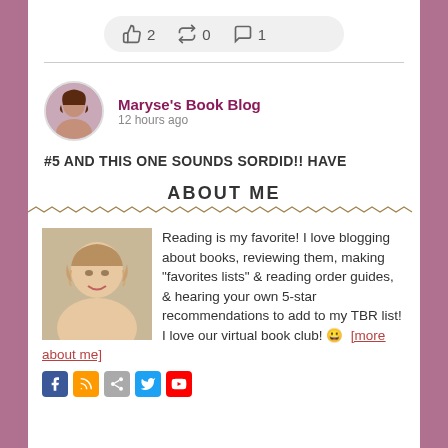[Figure (infographic): Reaction bar with thumbs up (2), share/repost (0), and comment (1) icons in a rounded gray box]
[Figure (photo): Circular profile photo of a woman with dark curly hair — Maryse's Book Blog avatar]
Maryse's Book Blog
12 hours ago
#5 AND THIS ONE SOUNDS SORDID!! HAVE
ABOUT ME
[Figure (photo): Photo of a smiling blonde woman — the blog author photo]
Reading is my favorite! I love blogging about books, reviewing them, making "favorites lists" & reading order guides, & hearing your own 5-star recommendations to add to my TBR list! I love our virtual book club! 😀 [more about me]
[Figure (infographic): Row of social media icons: Facebook, RSS, share, Twitter, YouTube]